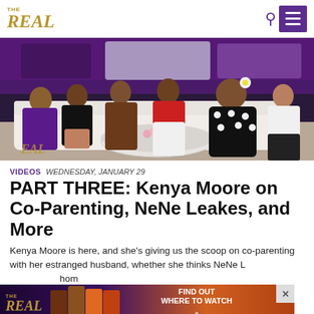THE REAL
[Figure (photo): Six women seated on white sofas on a TV talk show set with purple lighting. From left: woman in purple suit, woman in black outfit with long dark hair, woman in brown dress, woman in red top with white pants, large woman in black and white polka dot dress with white flower in hair, woman in white blouse with black pants.]
VIDEOS  WEDNESDAY, JANUARY 29
PART THREE: Kenya Moore on Co-Parenting, NeNe Leakes, and More
Kenya Moore is here, and she's giving us the scoop on co-parenting with her estranged husband, whether she thinks NeNe L... hom reachin...
[Figure (screenshot): Advertisement banner for The Real TV show. Shows THE REAL logo in gold, photos of show hosts, and text reading FIND OUT WHERE TO WATCH with a purple button.]